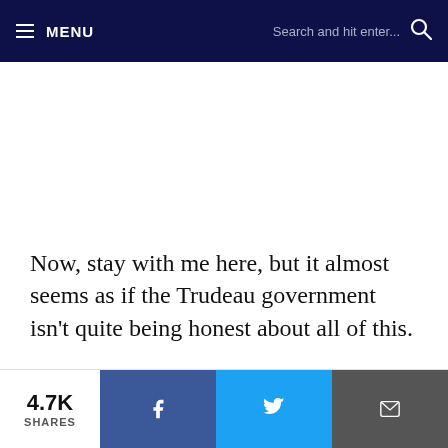≡ MENU   Search and hit enter...
Now, stay with me here, but it almost seems as if the Trudeau government isn't quite being honest about all of this.
It sounds as if the government knew about this for a long time, yet decided to cover it up.
4.7K SHARES [Facebook] [Twitter] [Email]